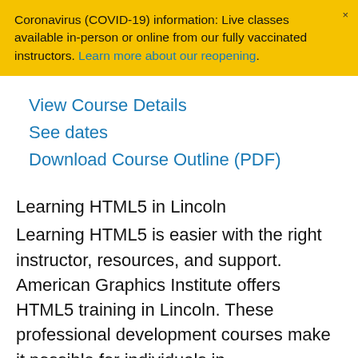Coronavirus (COVID-19) information: Live classes available in-person or online from our fully vaccinated instructors. Learn more about our reopening.
View Course Details
See dates
Download Course Outline (PDF)
Learning HTML5 in Lincoln
Learning HTML5 is easier with the right instructor, resources, and support. American Graphics Institute offers HTML5 training in Lincoln. These professional development courses make it possible for individuals in